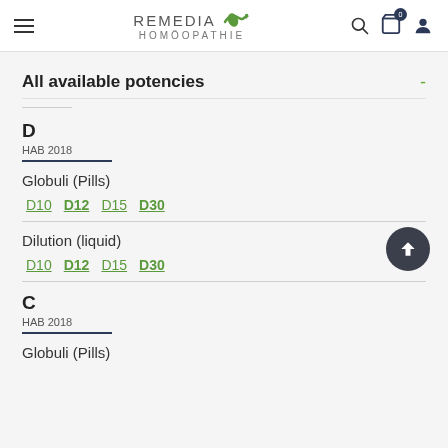Remedia Homöopathie
All available potencies
D
HAB 2018
Globuli (Pills)
D10  D12  D15  D30
Dilution (liquid)
D10  D12  D15  D30
C
HAB 2018
Globuli (Pills)